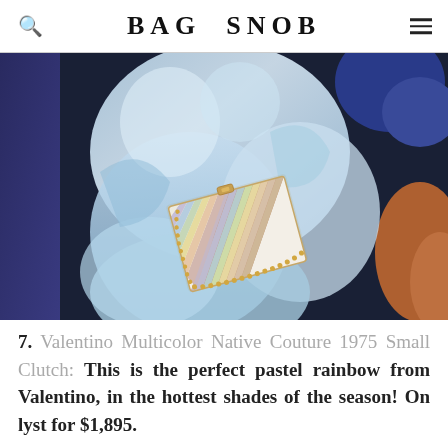BAG SNOB
[Figure (photo): A Valentino Multicolor Native Couture 1975 Small Clutch with pastel rainbow chevron stripes and gold studded trim, displayed on an ice sculpture with blue and orange fur accessories in the background.]
7. Valentino Multicolor Native Couture 1975 Small Clutch: This is the perfect pastel rainbow from Valentino, in the hottest shades of the season! On lyst for $1,895.